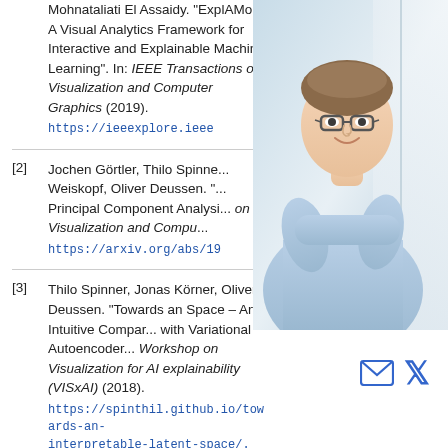Mohnataliati El Assaidy. "ExplAMon: A Visual Analytics Framework for Interactive and Explainable Machine Learning". In: IEEE Transactions on Visualization and Computer Graphics (2019). https://ieeexplore.ieee...
[2] Jochen Görtler, Thilo Spinner, ... Weiskopf, Oliver Deussen. "... Principal Component Analysis". ... on Visualization and Compu... https://arxiv.org/abs/19...
[3] Thilo Spinner, Jonas Körner, ... Oliver Deussen. "Towards an ... Space – An Intuitive Compar... with Variational Autoencoder... Workshop on Visualization for AI explainability (VISxAI) (2018). https://spinthil.github.io/towards-an-interpretable-latent-space/.
[Figure (photo): Portrait photo of a young man with glasses, arms crossed, wearing a light blue shirt, smiling, against a white/light background.]